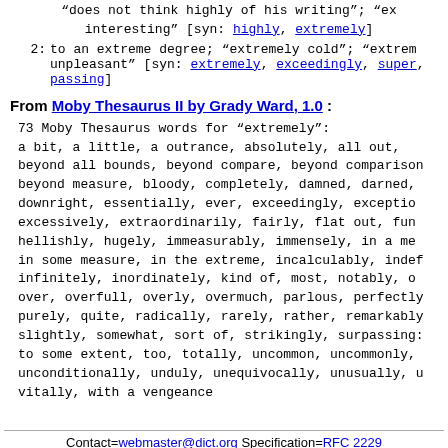"does not think highly of his writing"; "extremely interesting" [syn: highly, extremely]
2: to an extreme degree; "extremely cold"; "extremely unpleasant" [syn: extremely, exceedingly, surpassing, passing]
From Moby Thesaurus II by Grady Ward, 1.0 :
73 Moby Thesaurus words for "extremely": a bit, a little, a outrance, absolutely, all out, beyond all bounds, beyond compare, beyond comparison, beyond measure, bloody, completely, damned, darned, downright, essentially, ever, exceedingly, exceptionally, excessively, extraordinarily, fairly, flat out, fundamentally, hellishly, hugely, immeasurably, immensely, in a measure, in some measure, in the extreme, incalculably, indefinitely, infinitely, inordinately, kind of, most, notably, out and out, over, overfull, overly, overmuch, parlous, perfectly, purely, quite, radically, rarely, rather, remarkably, slightly, somewhat, sort of, strikingly, surpassingly, to some extent, too, totally, uncommon, uncommonly, unconditionally, unduly, unequivocally, unusually, utterly, vitally, with a vengeance
Contact=webmaster@dict.org Specification=RFC 2229